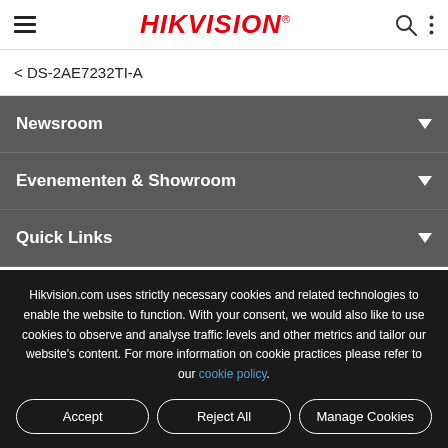HIKVISION
< DS-2AE7232TI-A
Newsroom
Evenementen & Showroom
Quick Links
Hikvision.com uses strictly necessary cookies and related technologies to enable the website to function. With your consent, we would also like to use cookies to observe and analyse traffic levels and other metrics and tailor our website's content. For more information on cookie practices please refer to our cookie policy.
Accept | Reject All | Manage Cookies